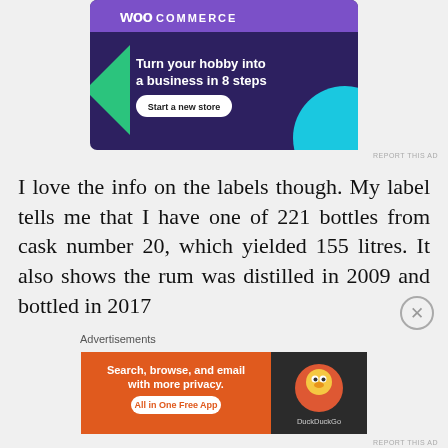[Figure (screenshot): WooCommerce advertisement: 'Turn your hobby into a business in 8 steps' with a 'Start a new store' button, purple background with green triangle and teal circle decorations.]
REPORT THIS AD
I love the info on the labels though. My label tells me that I have one of 221 bottles from cask number 20, which yielded 155 litres. It also shows the rum was distilled in 2009 and bottled in 2017
Advertisements
[Figure (screenshot): DuckDuckGo advertisement: 'Search, browse, and email with more privacy. All in One Free App' with DuckDuckGo logo on dark background.]
REPORT THIS AD